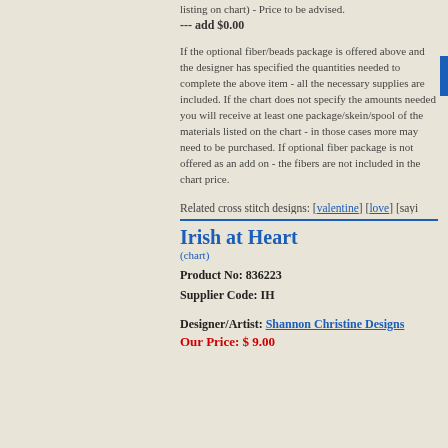listing on chart) - Price to be advised. --- add $0.00
If the optional fiber/beads package is offered above and the designer has specified the quantities needed to complete the above item - all the necessary supplies are included. If the chart does not specify the amounts needed you will receive at least one package/skein/spool of the materials listed on the chart - in those cases more may need to be purchased. If optional fiber package is not offered as an add on - the fibers are not included in the chart price.
Related cross stitch designs: [valentine] [love] [sayi
Irish at Heart
(chart)
Product No: 836223
Supplier Code: IH
Designer/Artist: Shannon Christine Designs
Our Price: $ 9.00